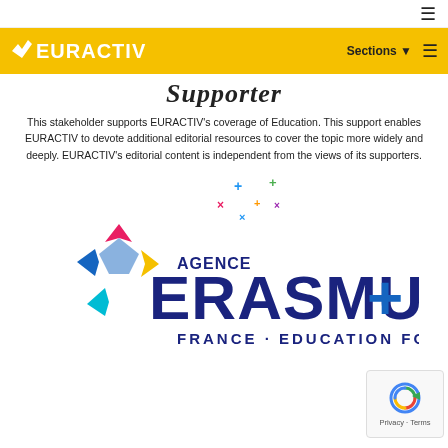EURACTIV — Sections
Supporter
This stakeholder supports EURACTIV's coverage of Education. This support enables EURACTIV to devote additional editorial resources to cover the topic more widely and deeply. EURACTIV's editorial content is independent from the views of its supporters.
[Figure (logo): Agence Erasmus+ France Education Formation logo with colorful star shapes]